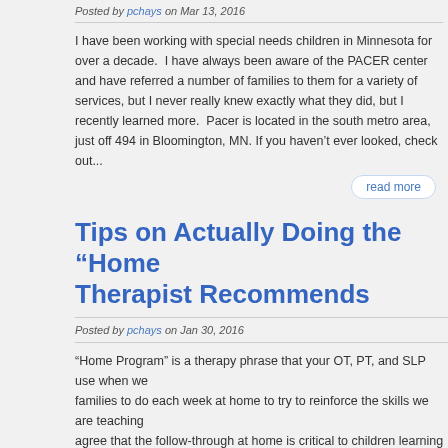Posted by pchays on Mar 13, 2016
I have been working with special needs children in Minnesota for over a decade.  I have always been aware of the PACER center and have referred a number of families to them for a variety of services, but I never really knew exactly what they did, but I recently learned more.  Pacer is located in the south metro area, just off 494 in Bloomington, MN. If you haven't ever looked, check out...
read more
Tips on Actually Doing the “Home... Therapist Recommends
Posted by pchays on Jan 30, 2016
“Home Program” is a therapy phrase that your OT, PT, and SLP use when we... families to do each week at home to try to reinforce the skills we are teaching... agree that the follow-through at home is critical to children learning new skills...